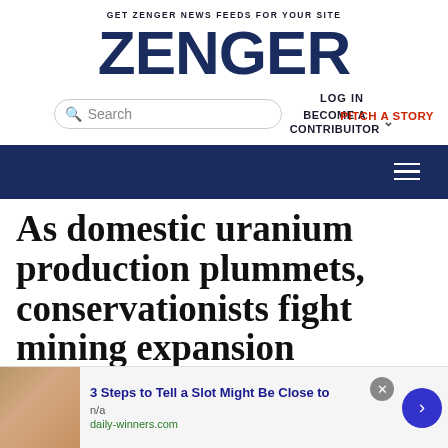GET ZENGER NEWS FEEDS FOR YOUR SITE
ZENGER
LOG IN
Search
BECOME A CONTRIBUITOR
PITCH A STORY
As domestic uranium production plummets, conservationists fight mining expansion
3 Steps to Tell a Slot Might Be Close to
n/a
daily-winners.com